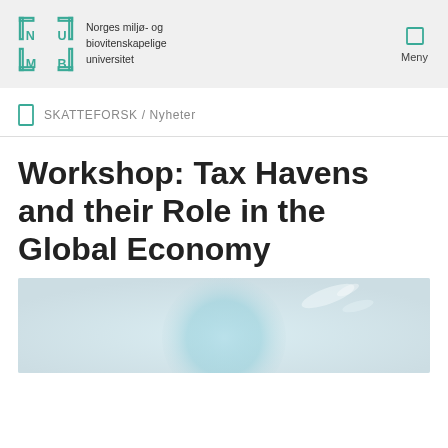Norges miljø- og biovitenskapelige universitet | Meny
SKATTEFORSK / Nyheter
Workshop: Tax Havens and their Role in the Global Economy
[Figure (photo): Globe/world map image with teal/blue tones and light streaks, representing global economy theme]